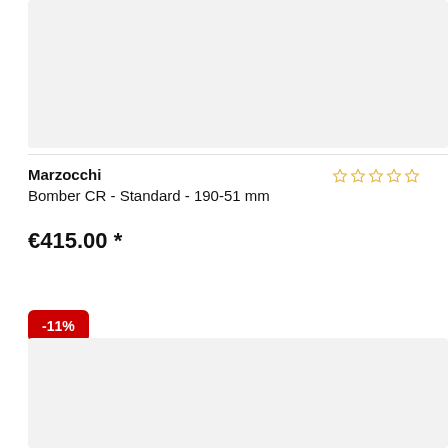[Figure (photo): Product image placeholder (top) - light gray background]
Marzocchi
Bomber CR - Standard - 190-51 mm
[Figure (other): 5 empty star rating icons in gold/yellow outline]
€415.00 *
-11%
[Figure (photo): Product image placeholder (bottom) - light gray background]